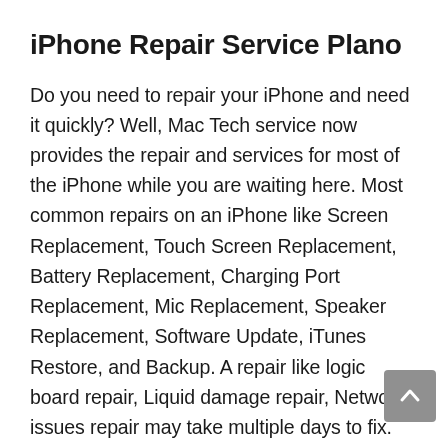iPhone Repair Service Plano
Do you need to repair your iPhone and need it quickly? Well, Mac Tech service now provides the repair and services for most of the iPhone while you are waiting here. Most common repairs on an iPhone like Screen Replacement, Touch Screen Replacement, Battery Replacement, Charging Port Replacement, Mic Replacement, Speaker Replacement, Software Update, iTunes Restore, and Backup. A repair like logic board repair, Liquid damage repair, Network issues repair may take multiple days to fix. Contact us to Repair your iPhone 5, iPhone5s, iPhone 6, iPhone 6s, iPhone 6 plus, iPhone 6s plus, iPhone 7, iPhone 7 Plus, iPhone 8, iPhone 8 Plus, iPhone SE, iPhone X, iPhone XS, iPhone XS Max, iPhone XR,